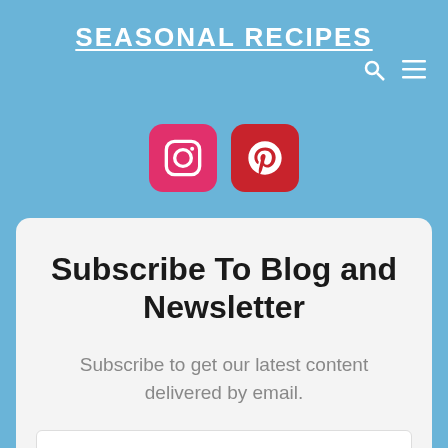SEASONAL RECIPES
[Figure (infographic): Navigation icons: search (magnifying glass) and hamburger menu in white on blue background]
[Figure (infographic): Social media icons: Instagram and Pinterest buttons with rounded square style]
Subscribe To Blog and Newsletter
Subscribe to get our latest content delivered by email.
Your email address